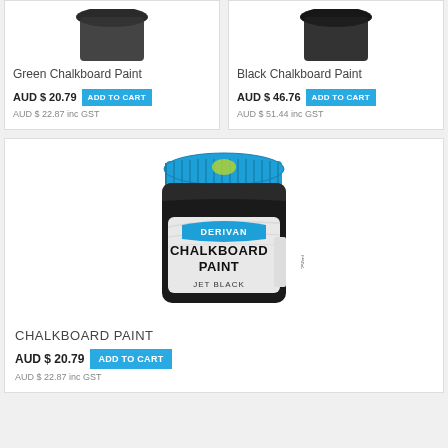[Figure (photo): Green Chalkboard Paint product image (dark jar, partially visible at top)]
Green Chalkboard Paint
AUD $ 20.79  ADD TO CART
AUD $ 22.87 inc GST
[Figure (photo): Black Chalkboard Paint product image (dark jar, partially visible at top)]
Black Chalkboard Paint
AUD $ 46.76  ADD TO CART
AUD $ 51.44 inc GST
[Figure (photo): Derivan Chalkboard Paint Jet Black jar with blue lid]
CHALKBOARD PAINT
AUD $ 20.79  ADD TO CART
AUD $ 22.87 inc GST